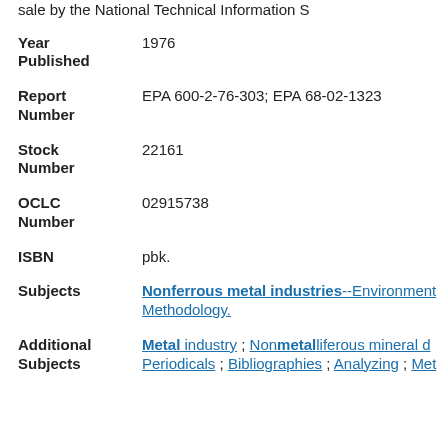sale by the National Technical Information S
Year Published
1976
Report Number
EPA 600-2-76-303; EPA 68-02-1323
Stock Number
22161
OCLC Number
02915738
ISBN
pbk.
Subjects
Nonferrous metal industries--Environment Methodology.
Additional Subjects
Metal industry ; Nonmetalliferous mineral d Periodicals ; Bibliographies ; Analyzing ; Met